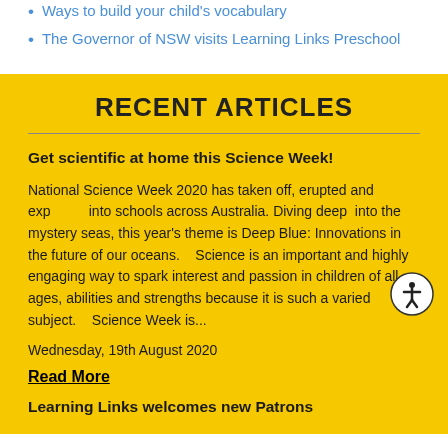Ways to build your child's vocabulary
The Governor of NSW visits Learning Links Preschool
RECENT ARTICLES
Get scientific at home this Science Week!
National Science Week 2020 has taken off, erupted and exp... into schools across Australia. Diving deep  into the mystery seas, this year's theme is Deep Blue: Innovations in the future of our oceans.   Science is an important and highly engaging way to spark interest and passion in children of all ages, abilities and strengths because it is such a varied subject.   Science Week is...
Wednesday, 19th August 2020
Read More
Learning Links welcomes new Patrons